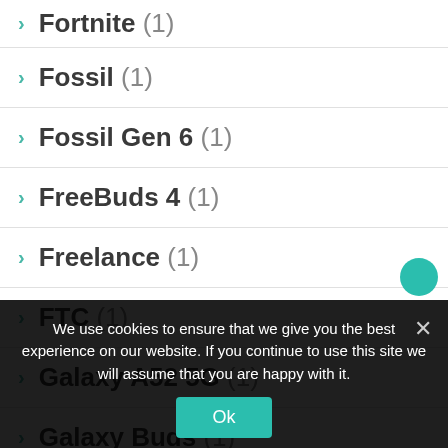Fortnite (1)
Fossil (1)
Fossil Gen 6 (1)
FreeBuds 4 (1)
Freelance (1)
FTC (1)
Galaxy A52 5G (1)
Galaxy Buds (1)
We use cookies to ensure that we give you the best experience on our website. If you continue to use this site we will assume that you are happy with it.